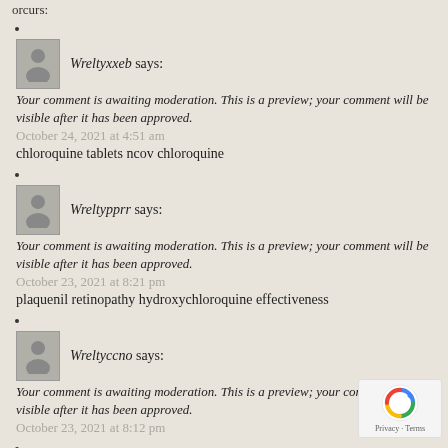orcurs:
Wreltyxxeb says:
Your comment is awaiting moderation. This is a preview; your comment will be visible after it has been approved.
October 24, 2021 at 4:51 am
chloroquine tablets ncov chloroquine
Wreltypprr says:
Your comment is awaiting moderation. This is a preview; your comment will be visible after it has been approved.
October 23, 2021 at 8:21 pm
plaquenil retinopathy hydroxychloroquine effectiveness
Wreltyccno says:
Your comment is awaiting moderation. This is a preview; your comment will be visible after it has been approved.
October 23, 2021 at 8:12 pm
Msmotretxy says: